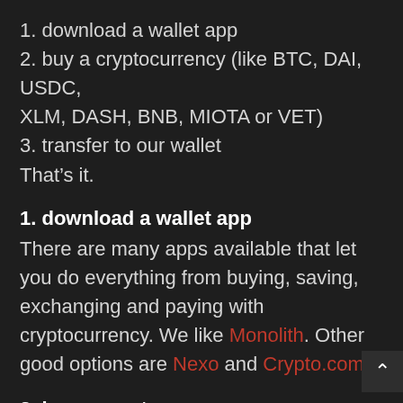1. download a wallet app
2. buy a cryptocurrency (like BTC, DAI, USDC, XLM, DASH, BNB, MIOTA or VET)
3. transfer to our wallet
That’s it.
1. download a wallet app
There are many apps available that let you do everything from buying, saving, exchanging and paying with cryptocurrency. We like Monolith. Other good options are Nexo and Crypto.com.
2. buy a cryptocurrency
You’re now ready to buy your first crypto. Crypto coins like XLM and MIOTA are fast, cheap (very low transaction cost) and low in